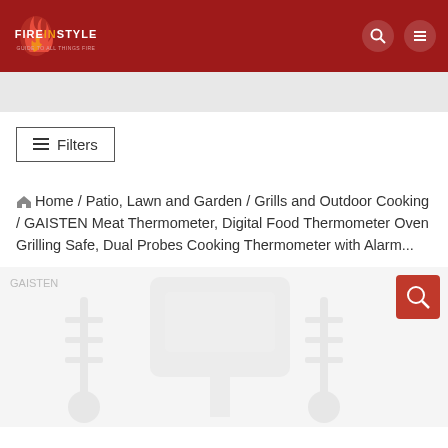[Figure (logo): Fire In Style logo — flame icon with text 'FIREINSTYLE' and tagline 'GUIDE TO ALL THINGS FIRE' on dark red background header]
≡ Filters
Home / Patio, Lawn and Garden / Grills and Outdoor Cooking / GAISTEN Meat Thermometer, Digital Food Thermometer Oven Grilling Safe, Dual Probes Cooking Thermometer with Alarm...
[Figure (photo): Product image area showing thermometer product watermark/ghost image on light gray background]